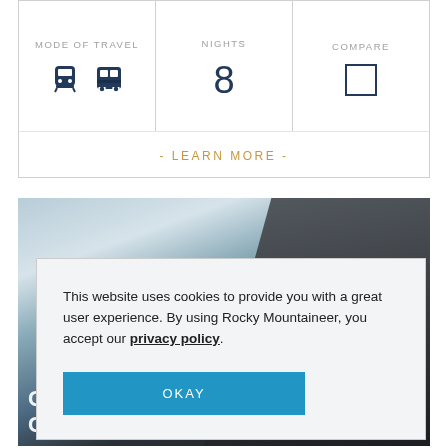[Figure (screenshot): Travel booking card showing MODE OF TRAVEL (train and bus icons), NIGHTS (8), COMPARE (checkbox), and LEARN MORE link]
[Figure (photo): Blurred background photo of a train/station scene with dark tones on the right side]
This website uses cookies to provide you with a great user experience. By using Rocky Mountaineer, you accept our privacy policy.
OKAY